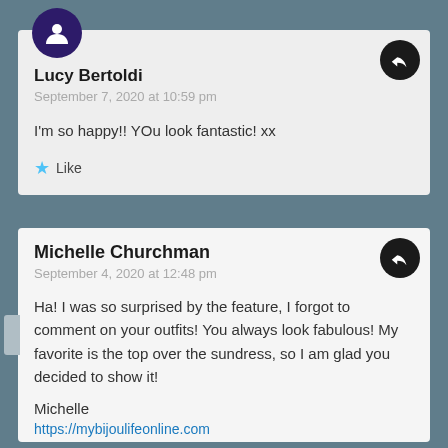Lucy Bertoldi
September 7, 2020 at 10:59 pm

I'm so happy!! YOu look fantastic! xx

★ Like
Michelle Churchman
September 4, 2020 at 12:48 pm

Ha! I was so surprised by the feature, I forgot to comment on your outfits! You always look fabulous! My favorite is the top over the sundress, so I am glad you decided to show it!

Michelle
https://mybijoulifeonline.com